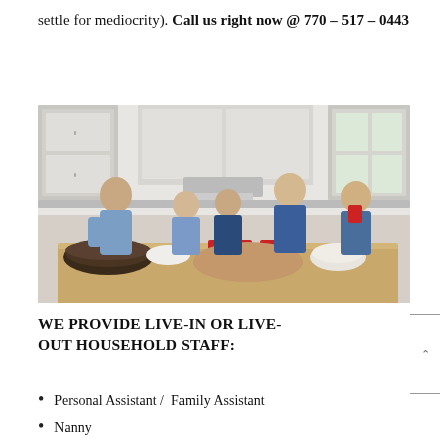settle for mediocrity). Call us right now @ 770 – 517 – 0443
[Figure (photo): A woman and four children gathered around a kitchen table with food, cupcakes, and baked goods. White kitchen cabinets in background.]
WE PROVIDE LIVE-IN OR LIVE-OUT HOUSEHOLD STAFF:
Personal Assistant /  Family Assistant
Nanny